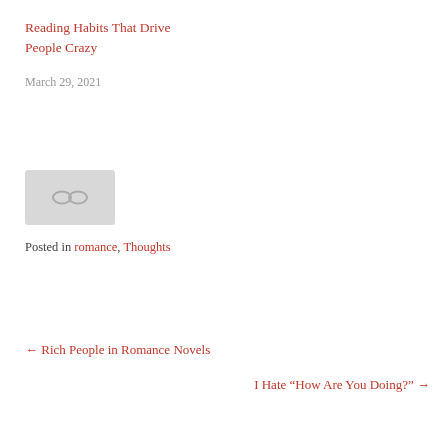Reading Habits That Drive People Crazy
March 29, 2021
[Figure (other): A small grey placeholder image box with a subtle chain/link icon in the center]
Posted in romance, Thoughts
← Rich People in Romance Novels
I Hate “How Are You Doing?” →